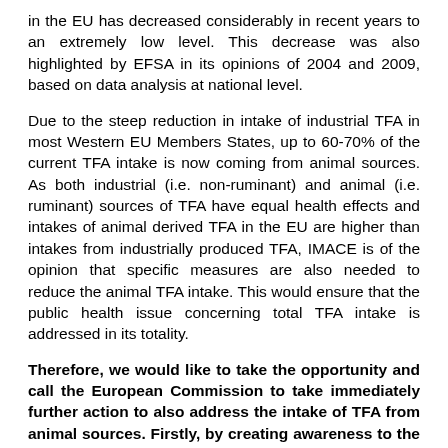in the EU has decreased considerably in recent years to an extremely low level. This decrease was also highlighted by EFSA in its opinions of 2004 and 2009, based on data analysis at national level.
Due to the steep reduction in intake of industrial TFA in most Western EU Members States, up to 60-70% of the current TFA intake is now coming from animal sources. As both industrial (i.e. non-ruminant) and animal (i.e. ruminant) sources of TFA have equal health effects and intakes of animal derived TFA in the EU are higher than intakes from industrially produced TFA, IMACE is of the opinion that specific measures are also needed to reduce the animal TFA intake. This would ensure that the public health issue concerning total TFA intake is addressed in its totality.
Therefore, we would like to take the opportunity and call the European Commission to take immediately further action to also address the intake of TFA from animal sources. Firstly, by creating awareness to the consumer and secondly by developing relevant legislative measures.
Furthermore, IMACE members are encouraged to